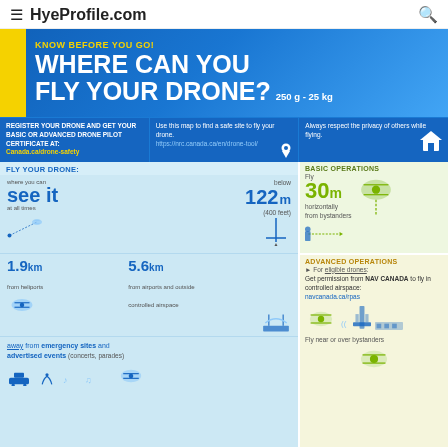HyeProfile.com
KNOW BEFORE YOU GO! WHERE CAN YOU FLY YOUR DRONE? 250 g - 25 kg
REGISTER YOUR DRONE AND GET YOUR BASIC OR ADVANCED DRONE PILOT CERTIFICATE AT: Canada.ca/drone-safety
Use this map to find a safe site to fly your drone. https://nrc.canada.ca/en/drone-tool/
Always respect the privacy of others while flying.
FLY YOUR DRONE:
where you can see it at all times
below 122 m (400 feet)
1.9 km from heliports
5.6 km from airports and outside controlled airspace
away from emergency sites and advertised events (concerts, parades)
BASIC OPERATIONS
Fly 30 m horizontally from bystanders
ADVANCED OPERATIONS
For eligible drones: Get permission from NAV CANADA to fly in controlled airspace: navcanada.ca/rpas
Fly near or over bystanders